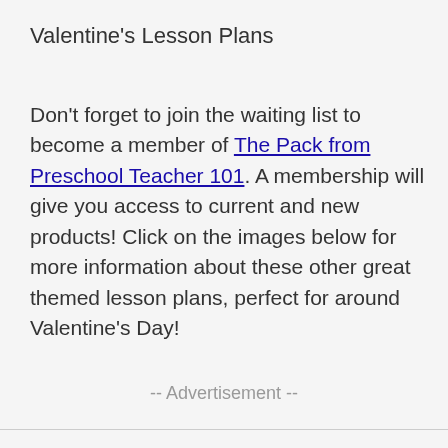Valentine's Lesson Plans
Don't forget to join the waiting list to become a member of The Pack from Preschool Teacher 101. A membership will give you access to current and new products! Click on the images below for more information about these other great themed lesson plans, perfect for around Valentine's Day!
-- Advertisement --